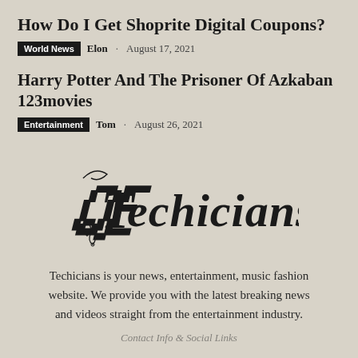How Do I Get Shoprite Digital Coupons?
World News  Elon  August 17, 2021
Harry Potter And The Prisoner Of Azkaban 123movies
Entertainment  Tom  August 26, 2021
[Figure (logo): Techicians logo in gothic/blackletter calligraphic font with decorative T initial]
Techicians is your news, entertainment, music fashion website. We provide you with the latest breaking news and videos straight from the entertainment industry.